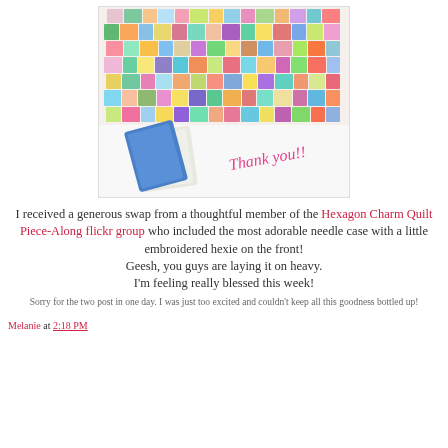[Figure (photo): Photo of a colorful quilt fabric mosaic with many patterned fabric squares arranged together, a small white needle case with an embroidered hexagon on the front, and handwritten pink text saying 'Thank you!!']
I received a generous swap from a thoughtful member of the Hexagon Charm Quilt Piece-Along flickr group who included the most adorable needle case with a little embroidered hexie on the front!
Geesh, you guys are laying it on heavy.
I'm feeling really blessed this week!
Sorry for the two post in one day. I was just too excited and couldn't keep all this goodness bottled up!
Melanie at 2:18 PM